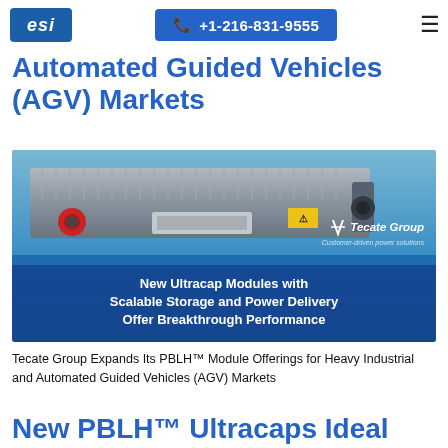ESI | +1-216-831-9555
Automated Guided Vehicles (AGV) Markets
[Figure (photo): Product photo of a blue industrial ultracapacitor module (PBLH series) by Tecate Group on a blue background, with overlaid text: 'New Ultracap Modules with Scalable Storage and Power Delivery Offer Breakthrough Performance'. Tecate Group logo with tagline 'Customer-driven power solutions' visible in upper right of image.]
Tecate Group Expands Its PBLH™ Module Offerings for Heavy Industrial and Automated Guided Vehicles (AGV) Markets
New PBLH™ Ultracaps Ideal